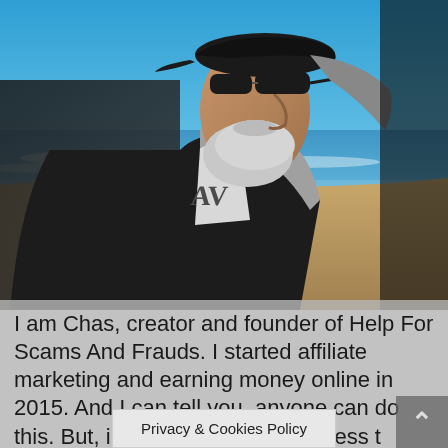[Figure (photo): An older man with a white beard and mustache, wearing sunglasses and a black cap, a dark jacket over a grey hoodie and graphic t-shirt, standing at a beach with blue ocean waves and blue sky in the background.]
I am Chas, creator and founder of Help For Scams And Frauds. I started affiliate marketing and earning money online in 2015. And I can tell you, anyone can do this. But, in order to build a business t have the right training quick
Privacy & Cookies Policy